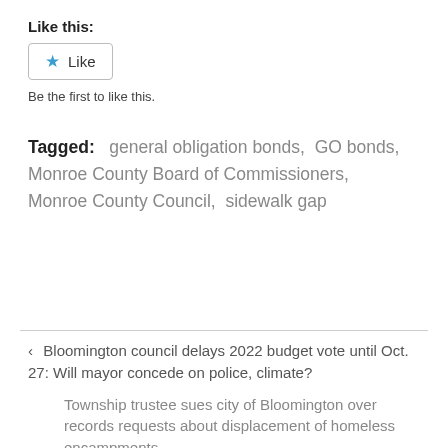Like this:
[Figure (other): Like button with blue star icon and text 'Like']
Be the first to like this.
Tagged:   general obligation bonds,  GO bonds,  Monroe County Board of Commissioners,  Monroe County Council,  sidewalk gap
‹  Bloomington council delays 2022 budget vote until Oct. 27: Will mayor concede on police, climate?
Township trustee sues city of Bloomington over records requests about displacement of homeless encampments